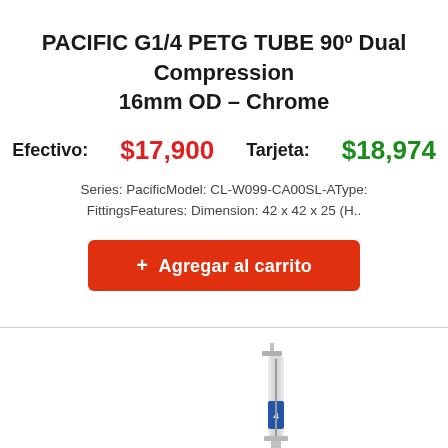PACIFIC G1/4 PETG TUBE 90º Dual Compression 16mm OD – Chrome
Efectivo: $17,900    Tarjeta: $18,974
Series: PacificModel: CL-W099-CA00SL-AType: FittingsFeatures: Dimension: 42 x 42 x 25 (H..
+ Agregar al carrito
[Figure (photo): Partial photo of a syringe with a blue label and gray body, shown from the bottom-right corner of the page.]